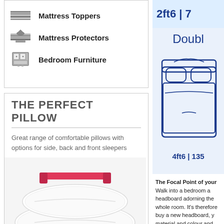Mattress Toppers
Mattress Protectors
Bedroom Furniture
THE PERFECT PILLOW
Great range of comfortable pillows with options for side, back and front sleepers
[Figure (photo): Photo of two white bed pillows stacked with a pink/red bed headboard visible in the background]
[Figure (other): Partial text '2ft6 | 7...' in blue on light blue background, cut off at right edge]
Doubl
[Figure (illustration): Top-down line illustration of a double bed with headboard and bedding, navy blue outline on light blue background]
4ft6 | 135
The Focal Point of your Walk into a bedroom a headboard adorning the whole room. It's therefore buy a new headboard, y material and colour and